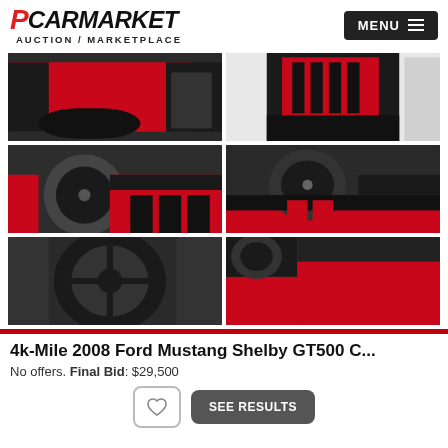PCARMARKET AUCTION / MARKETPLACE
[Figure (photo): Six interior photos of a 2008 Ford Mustang Shelby GT500 showing red and black leather door panels, seats, dashboard and steering wheel]
4k-Mile 2008 Ford Mustang Shelby GT500 C...
No offers. Final Bid: $29,500